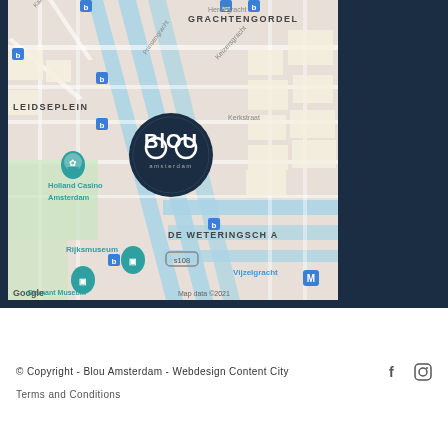[Figure (map): Google Maps screenshot showing Amsterdam area including Leidseplein, Grachtengordel, Rijksmuseum, Holland Casino Amsterdam, Diamant Museum Amsterdam, De Weteringschans, Vijzelgracht, with Blou Amsterdam logo marker pin. Map data ©2021.]
© Copyright - Blou Amsterdam - Webdesign Content City   Terms and Conditions